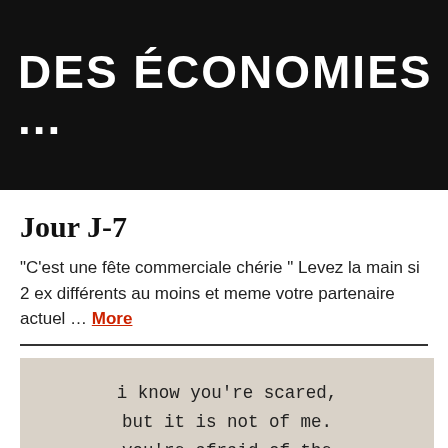[Figure (photo): Black banner image with white bold uppercase text reading 'DES ÉCONOMIES ...']
Jour J-7
“C’est une fête commerciale chérie ” Levez la main si 2 ex différents au moins et meme votre partenaire actuel … More
[Figure (photo): Photo of typed text on paper reading: i know you're scared, but it is not of me. you're afraid of the]